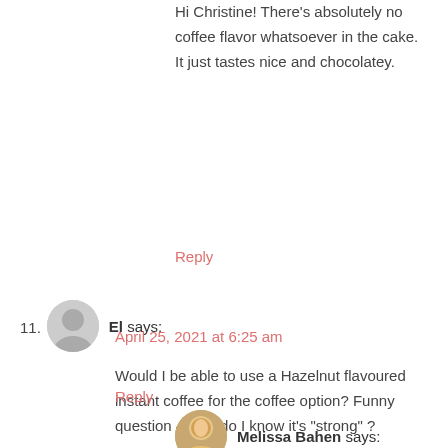Hi Christine! There's absolutely no coffee flavor whatsoever in the cake. It just tastes nice and chocolatey.
Reply
11. El says:
April 25, 2021 at 6:25 am
Would I be able to use a Hazelnut flavoured instant coffee for the coffee option? Funny question – how do I know it's "strong" ?
Reply
Melissa Bahen says: